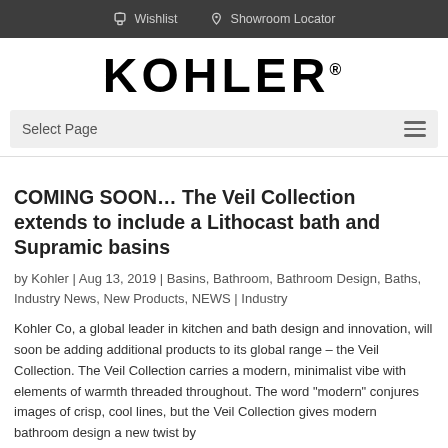Wishlist   Showroom Locator
[Figure (logo): KOHLER logo in bold black text]
Select Page
COMING SOON… The Veil Collection extends to include a Lithocast bath and Supramic basins
by Kohler | Aug 13, 2019 | Basins, Bathroom, Bathroom Design, Baths, Industry News, New Products, NEWS | Industry
Kohler Co, a global leader in kitchen and bath design and innovation, will soon be adding additional products to its global range – the Veil Collection. The Veil Collection carries a modern, minimalist vibe with elements of warmth threaded throughout. The word "modern" conjures images of crisp, cool lines, but the Veil Collection gives modern bathroom design a new twist by